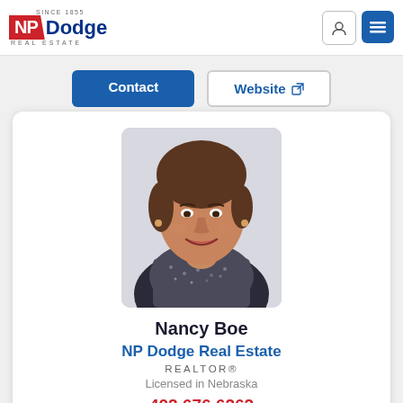[Figure (logo): NP Dodge Real Estate logo — red NP block with Dodge in blue, SINCE 1855 and REAL ESTATE text]
Contact
Website
[Figure (photo): Professional headshot of Nancy Boe, a woman with short brown hair, wearing a dark jacket and patterned scarf, smiling]
Nancy Boe
NP Dodge Real Estate
REALTOR®
Licensed in Nebraska
402.676.6262